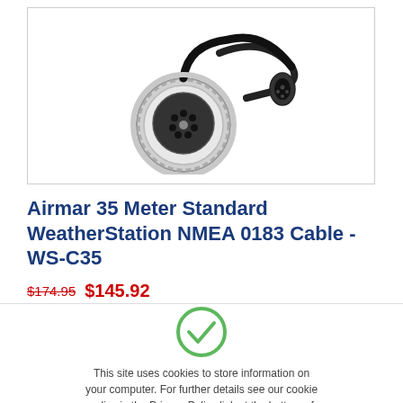[Figure (photo): Product photo of a circular marine connector with multiple pins and a black cable with smaller connector at the end, set against a white background.]
Airmar 35 Meter Standard WeatherStation NMEA 0183 Cable - WS-C35
$174.95 $145.92
[Figure (illustration): Green circle with a white checkmark inside, indicating acceptance or confirmation.]
This site uses cookies to store information on your computer. For further details see our cookie policy in the Privacy Policy link at the bottom of the page .
Ok